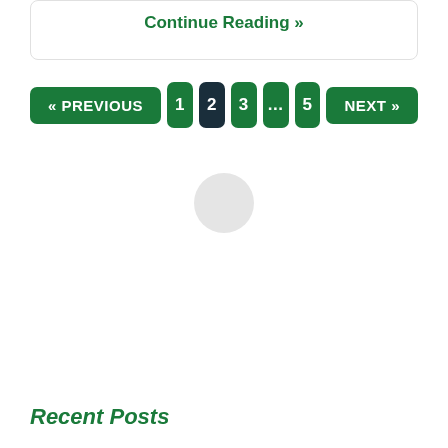Continue Reading »
« PREVIOUS  1  2  3  ...  5  NEXT »
[Figure (other): Loading spinner circle]
Recent Posts